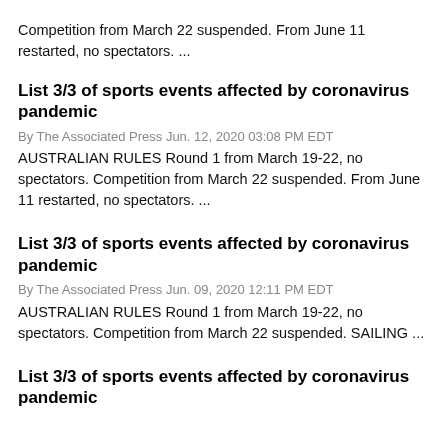Competition from March 22 suspended. From June 11 restarted, no spectators. ...
List 3/3 of sports events affected by coronavirus pandemic
By The Associated Press Jun. 12, 2020 03:08 PM EDT
AUSTRALIAN RULES Round 1 from March 19-22, no spectators. Competition from March 22 suspended. From June 11 restarted, no spectators. ...
List 3/3 of sports events affected by coronavirus pandemic
By The Associated Press Jun. 09, 2020 12:11 PM EDT
AUSTRALIAN RULES Round 1 from March 19-22, no spectators. Competition from March 22 suspended. SAILING ...
List 3/3 of sports events affected by coronavirus pandemic